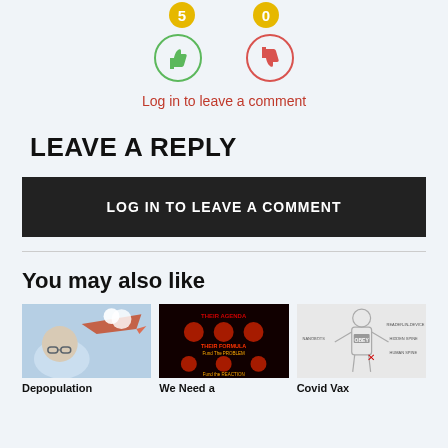[Figure (illustration): Thumbs up icon in green circle with count badge 5, and thumbs down icon in red circle with count badge 0]
Log in to leave a comment
LEAVE A REPLY
LOG IN TO LEAVE A COMMENT
You may also like
[Figure (photo): Thumbnail image for Depopulation article showing a man and airplane]
[Figure (illustration): Thumbnail image for We Need a article showing dark agenda graphic]
[Figure (illustration): Thumbnail image for Covid Vax article showing body diagram with OBEY text]
Depopulation
We Need a
Covid Vax